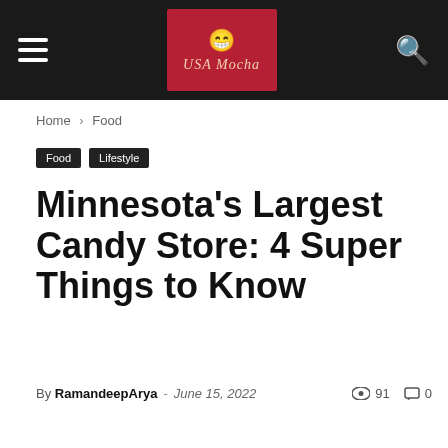ASA Mocha — navigation bar with hamburger menu and search icon
Home › Food
Food  Lifestyle
Minnesota's Largest Candy Store: 4 Super Things to Know
By RamandeepArya – June 15, 2022   91   0